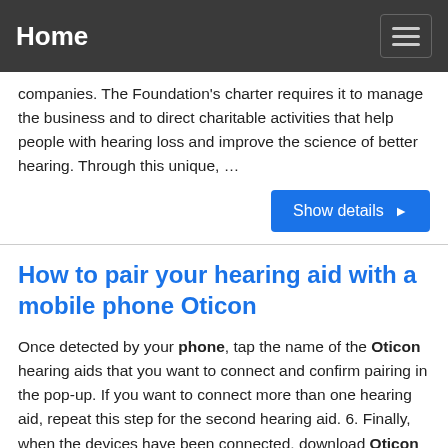Home
companies. The Foundation's charter requires it to manage the business and to direct charitable activities that help people with hearing loss and improve the science of better hearing. Through this unique, …
How to pair your hearing aid with a mobile phone Oticon
Once detected by your phone, tap the name of the Oticon hearing aids that you want to connect and confirm pairing in the pop-up. If you want to connect more than one hearing aid, repeat this step for the second hearing aid. 6. Finally, when the devices have been connected, download Oticon ON from the App Store®. Once installed and opened, it will automatically detect your